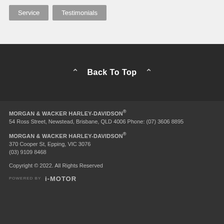Service
Testimonials
Back To Top
MORGAN & WACKER HARLEY-DAVIDSON®
54 Ross Street, Newstead, Brisbane, QLD 4006 Phone: (07) 3606 8895
MORGAN & WACKER HARLEY-DAVIDSON®
370 Cooper St, Epping, VIC 3076
(03) 9109 8468
Copyright © 2022. All Rights Reserved
POWERED BY   i-MOTOR